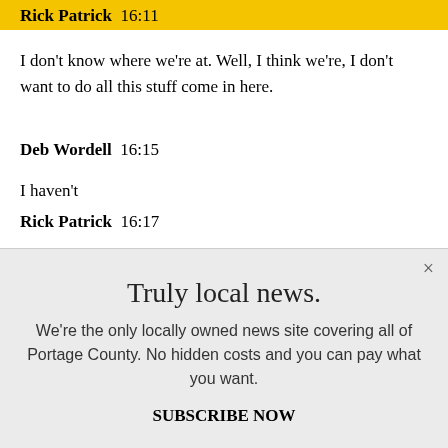Rick Patrick  16:11
I don’t know where we’re at. Well, I think we’re, I don’t want to do all this stuff come in here.
Deb Wordell  16:15
I haven’t
Rick Patrick  16:17
Truly local news.
We’re the only locally owned news site covering all of Portage County. No hidden costs and you can pay what you want.
SUBSCRIBE NOW